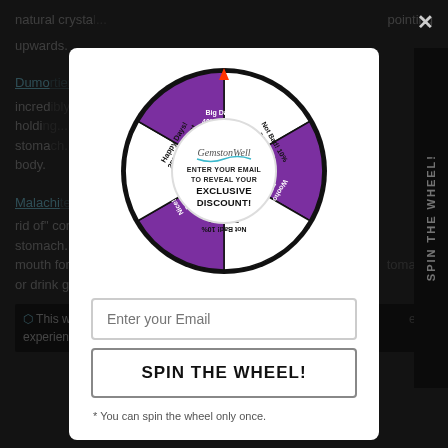natural crysta... pointing upwards.
Dumo... incred... holding... stoma... body.
Malachi... rid of consti... stomach. Place... mouth for a short whi... stomach, or drink gem water.
This website... best experience o...
[Figure (infographic): A spin-the-wheel promotional popup for GemstonWell showing a circular wheel divided into 6 segments alternating purple and white with discount labels: Happy Days! 25% Discount, Big Daddy! 40% Discount, Not Bad! 10% Discount, Woohoo! 15% Discount, Not Bad! 10% Discount, Nice! 15% Discount. The center shows the GemstonWell logo and text: ENTER YOUR EMAIL TO REVEAL YOUR EXCLUSIVE DISCOUNT!]
ENTER YOUR EMAIL TO REVEAL YOUR EXCLUSIVE DISCOUNT!
Enter your Email
SPIN THE WHEEL!
* You can spin the wheel only once.